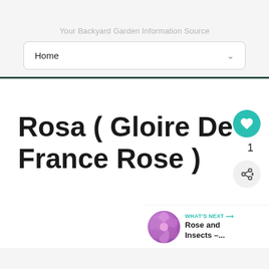Your Backyard Garden Information Source
Home
Rosa ( Gloire De France Rose )
1
WHAT'S NEXT → Rose and Insects –...